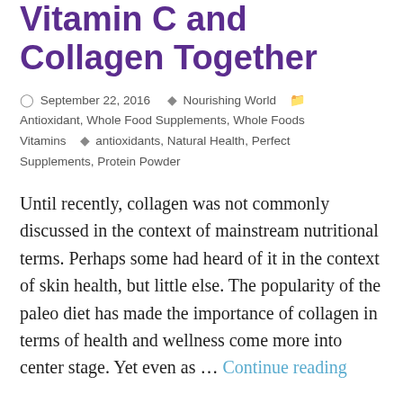Vitamin C and Collagen Together
September 22, 2016  Nourishing World  Antioxidant, Whole Food Supplements, Whole Foods Vitamins  antioxidants, Natural Health, Perfect Supplements, Protein Powder
Until recently, collagen was not commonly discussed in the context of mainstream nutritional terms. Perhaps some had heard of it in the context of skin health, but little else. The popularity of the paleo diet has made the importance of collagen in terms of health and wellness come more into center stage. Yet even as … Continue reading